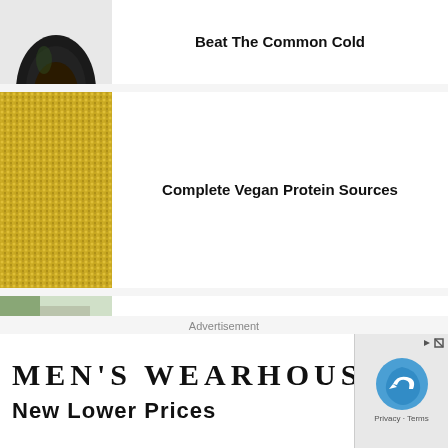[Figure (photo): Partial view of a dark avocado at top of page]
Beat The Common Cold
[Figure (photo): Close-up of golden quinoa or millet seeds]
Complete Vegan Protein Sources
[Figure (photo): Hand holding a tall glass of detox water with lemon slices outdoors]
Why You Should Drink Detox Water
Advertisement
[Figure (illustration): Men's Wearhouse advertisement banner with text 'MEN'S WEARHOUSE' and 'New Lower Prices', with reCAPTCHA overlay on right side]